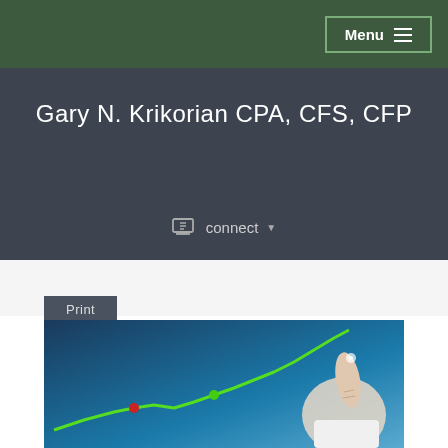Menu
Gary N. Krikorian CPA, CFS, CFP
connect
Print
[Figure (photo): A hand pointing upward touching a rising green line chart on a blue gradient background, representing financial growth]